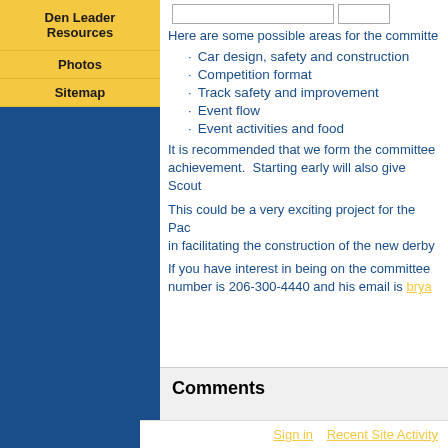Den Leader Resources
Photos
Sitemap
Here are some possible areas for the committee
Car design, safety and construction
Competition format
Track safety and improvement
Event flow
Event activities and food
It is recommended that we form the committee early achievement. Starting early will also give Scout
This could be a very exciting project for the Pac in facilitating the construction of the new derby
If you have interest in being on the committee number is 206-300-4440 and his email is brya
Comments
Sign in   Recent Site Activity